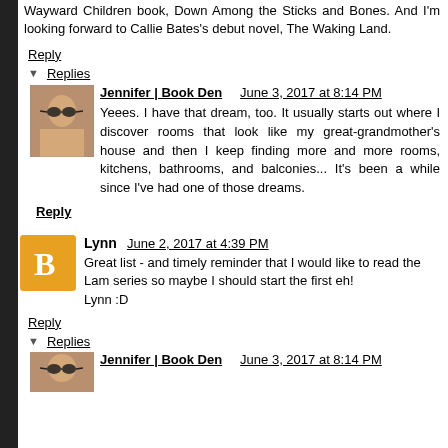Wayward Children book, Down Among the Sticks and Bones. And I'm looking forward to Callie Bates's debut novel, The Waking Land.
Reply
Replies
Jennifer | Book Den    June 3, 2017 at 8:14 PM
Yeees. I have that dream, too. It usually starts out where I discover rooms that look like my great-grandmother's house and then I keep finding more and more rooms, kitchens, bathrooms, and balconies... It's been a while since I've had one of those dreams.
Reply
Lynn    June 2, 2017 at 4:39 PM
Great list - and timely reminder that I would like to read the Lam series so maybe I should start the first eh!
Lynn :D
Reply
Replies
Jennifer | Book Den    June 3, 2017 at 8:14 PM